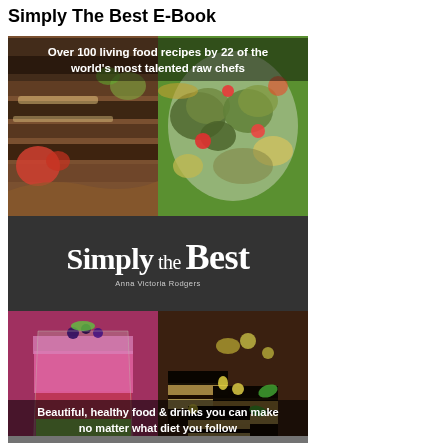Simply The Best E-Book
[Figure (illustration): Book cover for 'Simply the Best' by Anna Victoria Rodgers. Top half shows two food photos: layered dark crackers/wraps on the left, and a salad with artichokes and colorful vegetables on the right. Center band is dark gray with white title text 'Simply the Best' and author name 'Anna Victoria Rodgers'. Bottom half shows a pink layered smoothie drink on the left and chocolate layered dessert squares on the right. Top overlay text reads: 'Over 100 living food recipes by 22 of the world's most talented raw chefs'. Bottom overlay text reads: 'Beautiful, healthy food & drinks you can make no matter what diet you follow'.]